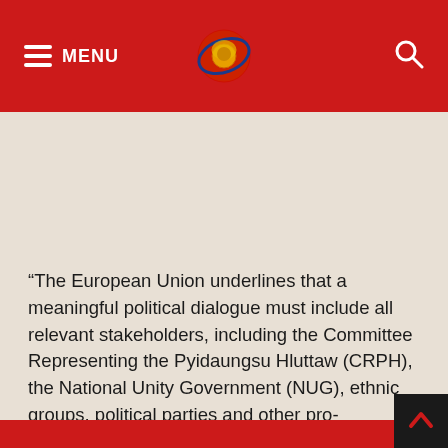MENU [logo] [search]
“The European Union underlines that a meaningful political dialogue must include all relevant stakeholders, including the Committee Representing the Pyidaungsu Hluttaw (CRPH), the National Unity Government (NUG), ethnic groups, political parties and other pro-democracy forces committed to working towards a peaceful